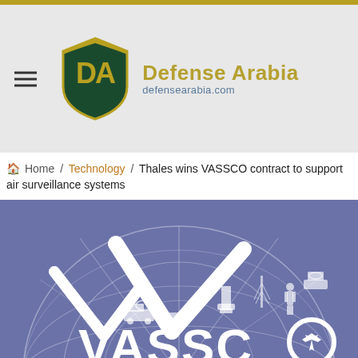[Figure (logo): Defense Arabia website header with shield logo (dark green and gold 'DA' initials) and text 'Defense Arabia' in gold with 'defensearabia.com' below in blue]
Home / Technology / Thales wins VASSCO contract to support air surveillance systems
[Figure (logo): VASSCO logo on a purple/slate blue background featuring a large white checkmark, globe grid outline, military/aviation silhouettes (radar truck, aircraft, control tower, radar mast, soldier), and the text 'VASSCO' in large white letters with a fighter jet inside the 'O']